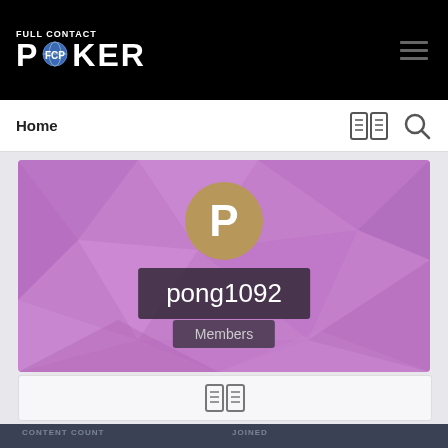[Figure (screenshot): Full Contact Poker website header with logo on black background and hamburger menu icon]
Home
[Figure (screenshot): User profile banner with purple polygon background, gold avatar circle with letter P, username pong1092, and Members role badge]
[Figure (screenshot): Tab/icon bar below profile banner]
CONTENT COUNT
223
JOINED
May 30, 2005
LAST VISITED
January 25, 2010